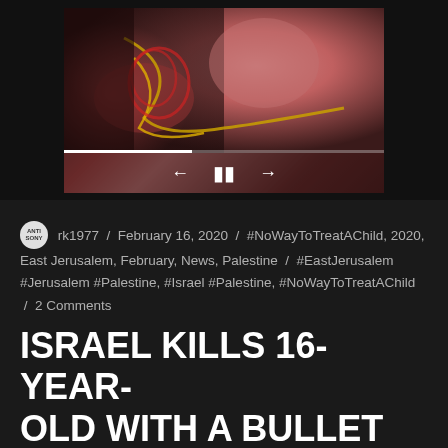[Figure (photo): A video player showing a medical/distressing image with playback controls (back, pause, forward) and a progress bar at the bottom. Dark background surrounds the video frame.]
rk1977 / February 16, 2020 / #NoWayToTreatAChild, 2020, East Jerusalem, February, News, Palestine / #EastJerusalem #Jerusalem #Palestine, #Israel #Palestine, #NoWayToTreatAChild / 2 Comments
ISRAEL KILLS 16-YEAR-OLD WITH A BULLET TO HIS HEART